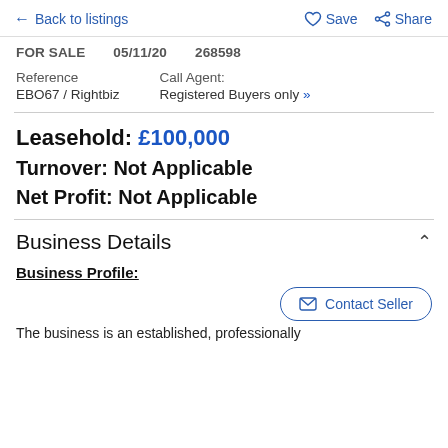← Back to listings   ♡ Save  Share
FOR SALE   05/11/20   268598
Reference
EBO67 / Rightbiz
Call Agent:
Registered Buyers only »
Leasehold: £100,000
Turnover: Not Applicable
Net Profit: Not Applicable
Business Details
Business Profile:
The business is an established, professionally